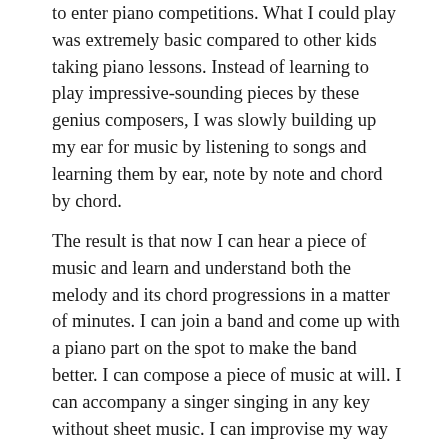to enter piano competitions. What I could play was extremely basic compared to other kids taking piano lessons. Instead of learning to play impressive-sounding pieces by these genius composers, I was slowly building up my ear for music by listening to songs and learning them by ear, note by note and chord by chord.
The result is that now I can hear a piece of music and learn and understand both the melody and its chord progressions in a matter of minutes. I can join a band and come up with a piano part on the spot to make the band better. I can compose a piece of music at will. I can accompany a singer singing in any key without sheet music. I can improvise my way out when I get lost during a performance. It turns out that all these skills are important to a musician.